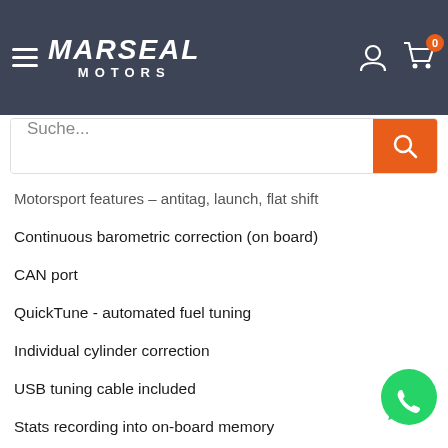[Figure (logo): Marseal Motors logo with hamburger menu on dark blue-grey header background, user icon and cart icon with orange badge showing 0]
[Figure (screenshot): Search bar with placeholder text 'Suche...' and orange search button]
Motorsport features – antitag, launch, flat shift
Continuous barometric correction (on board)
CAN port
QuickTune - automated fuel tuning
Individual cylinder correction
USB tuning cable included
Stats recording into on-board memory
Gear compensations for spark, boost and fuel
Real time selectable dual fuel, ignition and boost maps
Sync and crank sensors can be a combination of Hall e… variable reluctance or optical
[Figure (logo): Green WhatsApp chat button in bottom right corner]